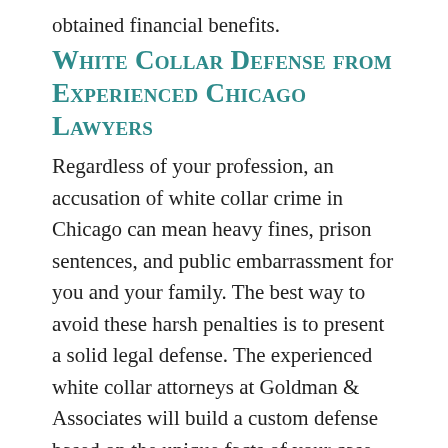obtained financial benefits.
White Collar Defense from Experienced Chicago Lawyers
Regardless of your profession, an accusation of white collar crime in Chicago can mean heavy fines, prison sentences, and public embarrassment for you and your family. The best way to avoid these harsh penalties is to present a solid legal defense. The experienced white collar attorneys at Goldman & Associates will build a custom defense based on the unique facts of your case. Our attorneys will examine every detail of your case in order to construct the most effective defense for your white collar case. We understand that this may be your first time dealing with criminal charges, so we will keep you informed during every step and answer any questions that you or...